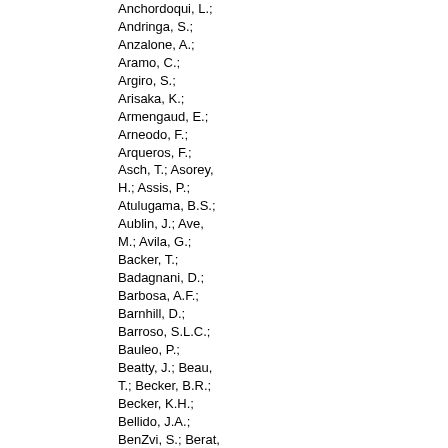Anchordoqui, L.; Andringa, S.; Anzalone, A.; Aramo, C.; Argiro, S.; Arisaka, K.; Armengaud, E.; Arneodo, F.; Arqueros, F.; Asch, T.; Asorey, H.; Assis, P.; Atulugama, B.S.; Aublin, J.; Ave, M.; Avila, G.; Backer, T.; Badagnani, D.; Barbosa, A.F.; Barnhill, D.; Barroso, S.L.C.; Bauleo, P.; Beatty, J.; Beau, T.; Becker, B.R.; Becker, K.H.; Bellido, J.A.; BenZvi, S.; Berat, C.; Bergmann, T.; Bernardini, P.; Bertou, X.; Biermann, P.L.; Billoir, P.; Blanch-